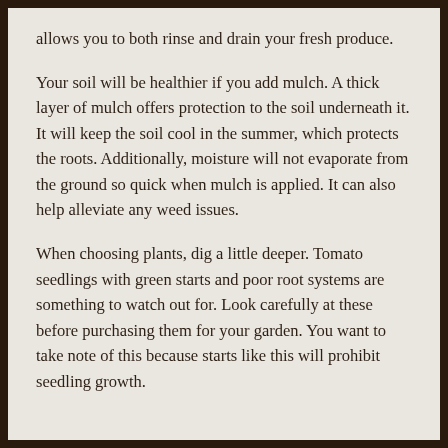allows you to both rinse and drain your fresh produce.
Your soil will be healthier if you add mulch. A thick layer of mulch offers protection to the soil underneath it. It will keep the soil cool in the summer, which protects the roots. Additionally, moisture will not evaporate from the ground so quick when mulch is applied. It can also help alleviate any weed issues.
When choosing plants, dig a little deeper. Tomato seedlings with green starts and poor root systems are something to watch out for. Look carefully at these before purchasing them for your garden. You want to take note of this because starts like this will prohibit seedling growth.